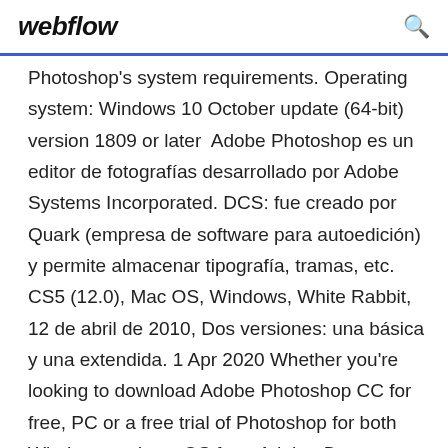webflow
Photoshop's system requirements. Operating system: Windows 10 October update (64-bit) version 1809 or later  Adobe Photoshop es un editor de fotografías desarrollado por Adobe Systems Incorporated. DCS: fue creado por Quark (empresa de software para autoedición) y permite almacenar tipografía, tramas, etc. CS5 (12.0), Mac OS, Windows, White Rabbit, 12 de abril de 2010, Dos versiones: una básica y una extendida. 1 Apr 2020 Whether you're looking to download Adobe Photoshop CC for free, PC or a free trial of Photoshop for both Windows and macOS from Adobe. Descargar Adobe Photoshop para PC gratis - Excelente programa en español para el tratamiento de